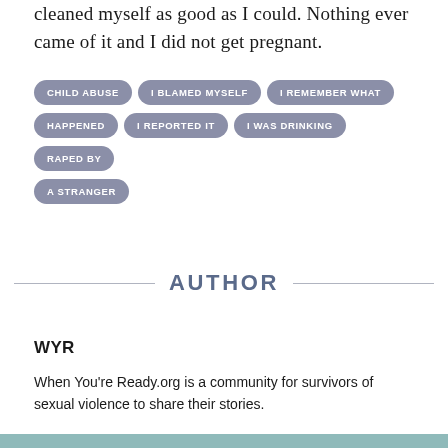cleaned myself as good as I could. Nothing ever came of it and I did not get pregnant.
CHILD ABUSE
I BLAMED MYSELF
I REMEMBER WHAT HAPPENED
I REPORTED IT
I WAS DRINKING
RAPED BY A STRANGER
AUTHOR
WYR
When You're Ready.org is a community for survivors of sexual violence to share their stories.